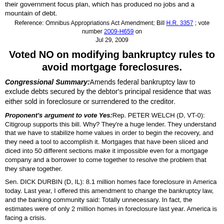their government focus plan, which has produced no jobs and a mountain of debt.
Reference: Omnibus Appropriations Act Amendment; Bill H.R. 3357 ; vote number 2009-H659 on Jul 29, 2009
Voted NO on modifying bankruptcy rules to avoid mortgage foreclosures.
Congressional Summary: Amends federal bankruptcy law to exclude debts secured by the debtor's principal residence that was either sold in foreclosure or surrendered to the creditor.
Proponent's argument to vote Yes: Rep. PETER WELCH (D, VT-0): Citigroup supports this bill. Why? They're a huge lender. They understand that we have to stabilize home values in order to begin the recovery, and they need a tool to accomplish it. Mortgages that have been sliced and diced into 50 different sections make it impossible even for a mortgage company and a borrower to come together to resolve the problem that they share together.
Sen. DICK DURBIN (D, IL): 8.1 million homes face foreclosure in America today. Last year, I offered this amendment to change the bankruptcy law, and the banking community said: Totally unnecessary. In fact, the estimates were of only 2 million homes in foreclosure last year. America is facing a crisis.
Opponent's argument to vote No:
Sen. JON KYL (R, AZ): This amendment would allow bankruptcy judges to modify home mortgages by lowering the principal and interest rate on the loan or extending the term of the loan. The concept in the trade is known as cram-down. It would apply to all borrowers who are 60 days or more delinquent. Many experts believe the cram-down provision would result in higher interest rates for all home mortgages. We could end up exacerbating this situation for all the people who